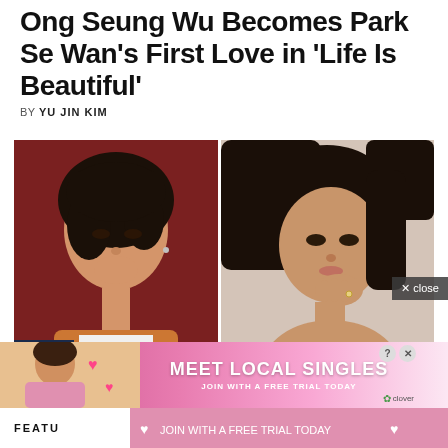Ong Seung Wu Becomes Park Se Wan's First Love in 'Life Is Beautiful'
BY YU JIN KIM
[Figure (photo): Side-by-side promotional photos: left shows a young male Korean celebrity (Ong Seung Wu) with black hair against a red background; right shows a young female Korean celebrity (Park Se Wan) with dark hair against a neutral background]
[Figure (screenshot): Advertisement banner: 'MEET LOCAL SINGLES - JOIN WITH A FREE TRIAL TODAY' with clover branding and a photo of a woman on the left side]
FEATU